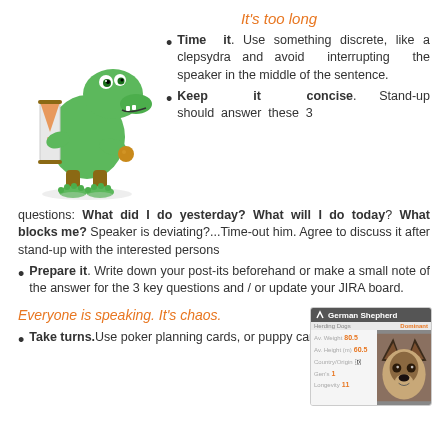It's too long
[Figure (illustration): Green cartoon crocodile/dinosaur holding a sand timer/hourglass, standing on wooden feet]
Time it. Use something discrete, like a clepsydra and avoid interrupting the speaker in the middle of the sentence.
Keep it concise. Stand-up should answer these 3 questions: What did I do yesterday? What will I do today? What blocks me? Speaker is deviating?...Time-out him. Agree to discuss it after stand-up with the interested persons
Prepare it. Write down your post-its beforehand or make a small note of the answer for the 3 key questions and / or update your JIRA board.
Everyone is speaking. It's chaos.
[Figure (photo): German Shepherd dog card with stats and photo of a German Shepherd dog face]
Take turns. Use poker planning cards, or puppy cards to decide